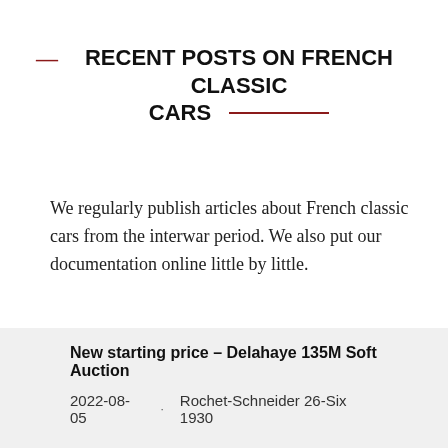RECENT POSTS ON FRENCH CLASSIC CARS
We regularly publish articles about French classic cars from the interwar period. We also put our documentation online little by little.
Do not hesitate to contact us if you need any information.
New starting price – Delahaye 135M Soft Auction
2022-08-05 · Rochet-Schneider 26-Six 1930